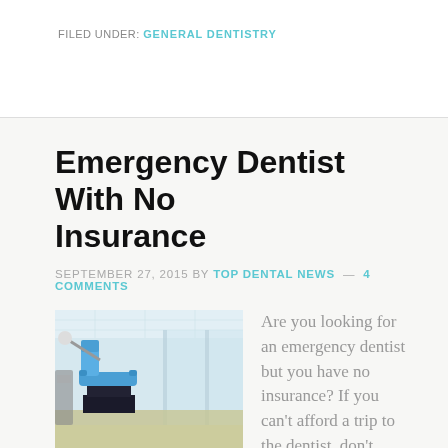FILED UNDER: GENERAL DENTISTRY
Emergency Dentist With No Insurance
SEPTEMBER 27, 2015 BY TOP DENTAL NEWS — 4 COMMENTS
[Figure (photo): Interior of a modern dental office with blue dental chair and glass partitions]
Are you looking for an emergency dentist but you have no insurance? If you can't afford a trip to the dentist, don't worry, you're not alone. Over the past half century, the cost of dental care has